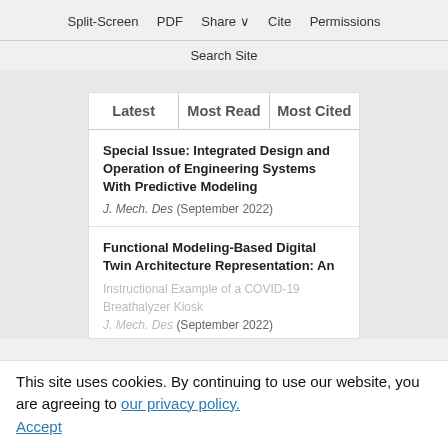Split-Screen  PDF  Share  Cite  Permissions
Search Site
| Latest | Most Read | Most Cited |
| --- | --- | --- |
Special Issue: Integrated Design and Operation of Engineering Systems With Predictive Modeling
J. Mech. Des (September 2022)
Functional Modeling-Based Digital Twin Architecture Representation: An
Instructional Example of a COVID-19 Breathalyzer Kiosk
J. Mech. Des (September 2022)
This site uses cookies. By continuing to use our website, you are agreeing to our privacy policy. Accept